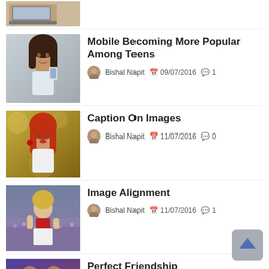[Figure (photo): Partial view of a laptop on a desk, top of page cutoff]
[Figure (photo): Young woman looking at her phone]
Mobile Becoming More Popular Among Teens
Bishal Napit  09/07/2016  1
[Figure (photo): Red-haired woman portrait]
Caption On Images
Bishal Napit  11/07/2016  0
[Figure (photo): Woman in lavender field]
Image Alignment
Bishal Napit  11/07/2016  1
[Figure (photo): Perfect Friendship post thumbnail, partially visible]
Perfect Friendship